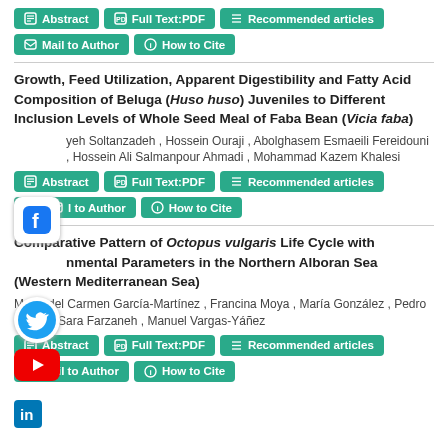Abstract | Full Text:PDF | Recommended articles | Mail to Author | How to Cite
Growth, Feed Utilization, Apparent Digestibility and Fatty Acid Composition of Beluga (Huso huso) Juveniles to Different Inclusion Levels of Whole Seed Meal of Faba Bean (Vicia faba)
yeh Soltanzadeh , Hossein Ouraji , Abolghasem Esmaeili Fereidouni , Hossein Ali Salmanpour Ahmadi , Mohammad Kazem Khalesi
Abstract | Full Text:PDF | Recommended articles | l to Author | How to Cite
Comparative Pattern of Octopus vulgaris Life Cycle with nmental Parameters in the Northern Alboran Sea (Western Mediterranean Sea)
María del Carmen García-Martínez , Francina Moya , María González , Pedro Sara Farzaneh , Manuel Vargas-Yáñez
Abstract | Full Text:PDF | Recommended articles | Mail to Author | How to Cite